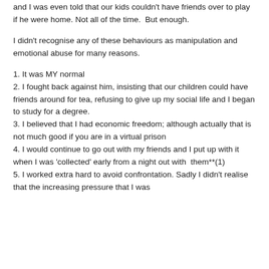and I was even told that our kids couldn't have friends over to play if he were home. Not all of the time.  But enough.
I didn't recognise any of these behaviours as manipulation and emotional abuse for many reasons.
1. It was MY normal
2. I fought back against him, insisting that our children could have friends around for tea, refusing to give up my social life and I began to study for a degree.
3. I believed that I had economic freedom; although actually that is not much good if you are in a virtual prison
4. I would continue to go out with my friends and I put up with it when I was 'collected' early from a night out with  them**(1)
5. I worked extra hard to avoid confrontation. Sadly I didn't realise that the increasing pressure that I was